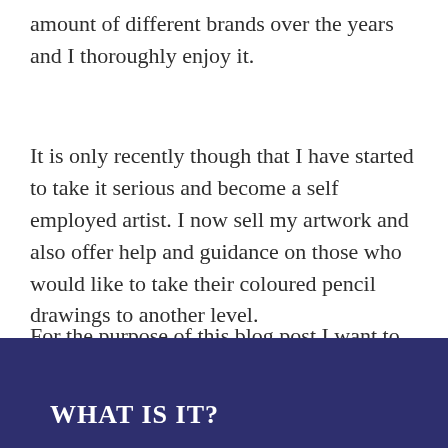amount of different brands over the years and I thoroughly enjoy it.
It is only recently though that I have started to take it serious and become a self employed artist. I now sell my artwork and also offer help and guidance on those who would like to take their coloured pencil drawings to another level.
For the purpose of this blog post I want to talk to you about pencil blending fluid.
WHAT IS IT?